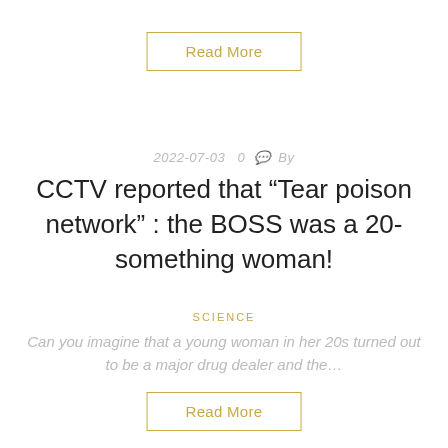Read More
2022-07-03  0  By
CCTV reported that “Tear poison network” : the BOSS was a 20-something woman!
SCIENCE
Can you imagine that a young woman in her 20s turned out to be a major drug dealer and the…
Read More